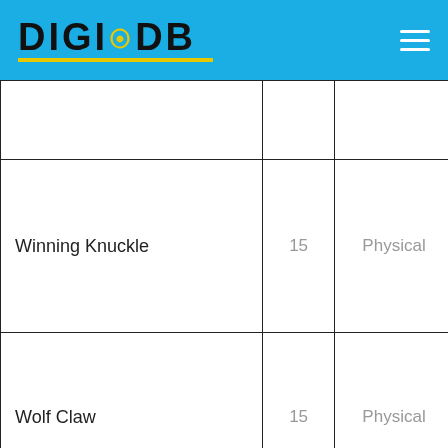DIGI DB
|  |  |  |  |  |  |
| Winning Knuckle | 15 | Physical | 115 | Neutral | No |
| Wolf Claw | 15 | Physical | 120 | Neutral | No |
|  |  |  |  |  |  |